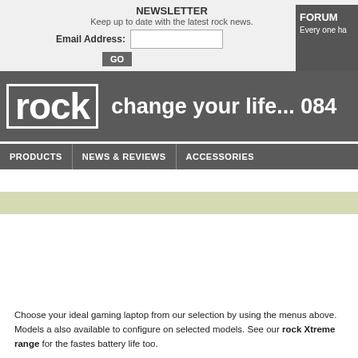NEWSLETTER
Keep up to date with the latest rock news.
Email Address:
FORUM
Every one ha...
[Figure (screenshot): Rock laptop brand banner with 'rock' logo and tagline 'change your life... 084']
PRODUCTS
NEWS & REVIEWS
ACCESSORIES
Choose your ideal gaming laptop from our selection by using the menus above. Models a... also available to configure on selected models. See our rock Xtreme range for the fastes... battery life too.
* based on an example of rock classic finance, click here for info